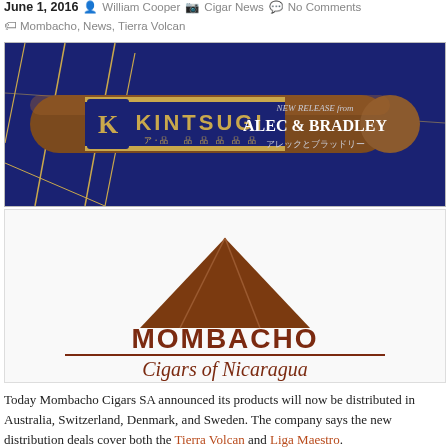June 1, 2016  William Cooper  Cigar News  No Comments  Mombacho, News, Tierra Volcan
[Figure (photo): Kintsugi cigar with blue and gold band on dark blue geometric background, with text 'NEW RELEASE from ALEC & BRADLEY' on the right]
[Figure (logo): Mombacho Cigars of Nicaragua logo: brown triangle/volcano shape above bold text MOMBACHO with horizontal rule and italic script 'Cigars of Nicaragua' below]
Today Mombacho Cigars SA announced its products will now be distributed in Australia, Switzerland, Denmark, and Sweden. The company says the new distribution deals cover both the Tierra Volcan and Liga Maestro.
The company has plans to release the 10th Anniversary Mombacho Magnifico Cigar at the 2016 IPCPR Trade Show.